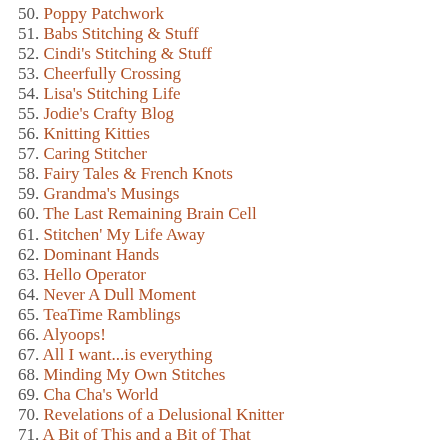50. Poppy Patchwork
51. Babs Stitching & Stuff
52. Cindi's Stitching & Stuff
53. Cheerfully Crossing
54. Lisa's Stitching Life
55. Jodie's Crafty Blog
56. Knitting Kitties
57. Caring Stitcher
58. Fairy Tales & French Knots
59. Grandma's Musings
60. The Last Remaining Brain Cell
61. Stitchen' My Life Away
62. Dominant Hands
63. Hello Operator
64. Never A Dull Moment
65. TeaTime Ramblings
66. Alyoops!
67. All I want...is everything
68. Minding My Own Stitches
69. Cha Cha's World
70. Revelations of a Delusional Knitter
71. A Bit of This and a Bit of That